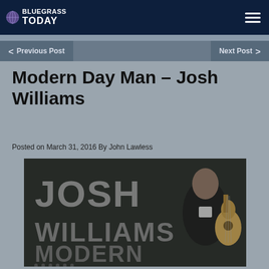Bluegrass Today
< Previous Post    Next Post >
Modern Day Man – Josh Williams
Posted on March 31, 2016 By John Lawless
[Figure (photo): Album cover for Josh Williams 'Modern Day Man' showing a man in a black suit holding an acoustic guitar, with large text reading JOSH WILLIAMS MODERN across a dark background]